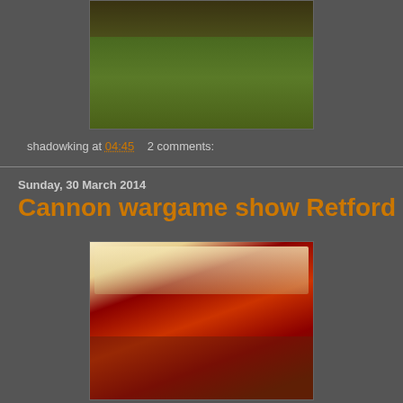[Figure (photo): Top portion of a wargaming miniatures photo showing figures on green terrain base]
shadowking at 04:45    2 comments:
Sunday, 30 March 2014
Cannon wargame show Retford
[Figure (photo): Interior of a wargame show hall with people browsing tables, red carpet floor, and vendor stalls]